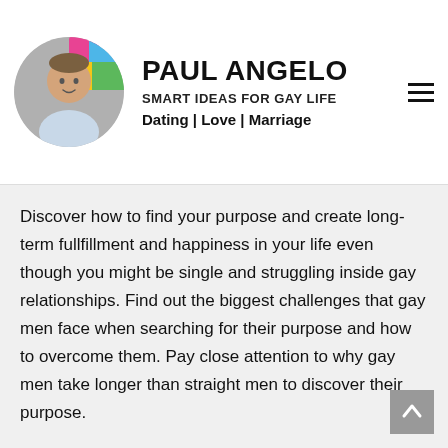PAUL ANGELO
SMART IDEAS FOR GAY LIFE
Dating | Love | Marriage
Discover how to find your purpose and create long-term fullfillment and happiness in your life even though you might be single and struggling inside gay relationships. Find out the biggest challenges that gay men face when searching for their purpose and how to overcome them. Pay close attention to why gay men take longer than straight men to discover their purpose.